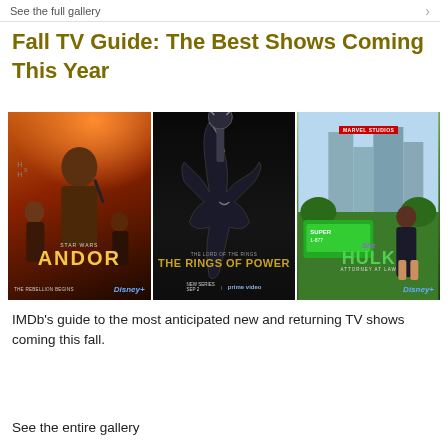See the full gallery
Fall TV Guide: The Best Shows Coming This Year
[Figure (photo): Three TV show promotional posters side by side: Star Wars Andor (Disney+), The Lord of the Rings: The Rings of Power (Prime Video, New Series Sep 2), and She-Hulk: Attorney at Law (Marvel Studios, Disney+)]
IMDb's guide to the most anticipated new and returning TV shows coming this fall.
See the entire gallery